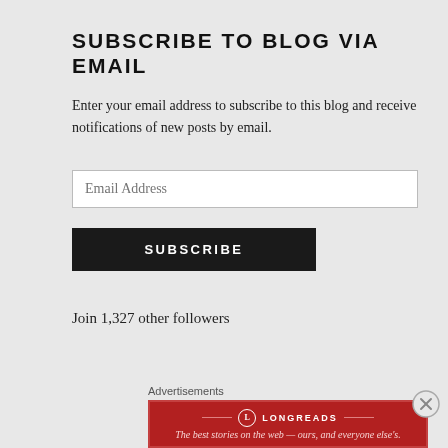SUBSCRIBE TO BLOG VIA EMAIL
Enter your email address to subscribe to this blog and receive notifications of new posts by email.
Join 1,327 other followers
Advertisements
[Figure (other): Longreads advertisement banner: red background with Longreads logo and tagline 'The best stories on the web — ours, and everyone else's.']